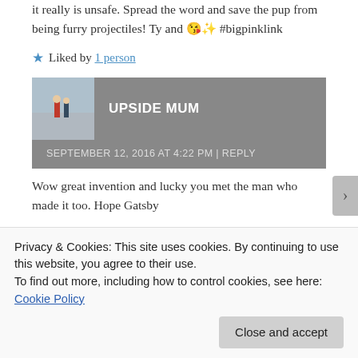it really is unsafe. Spread the word and save the pup from being furry projectiles! Ty and 😘✨ #bigpinklink
★ Liked by 1 person
UPSIDE MUM
SEPTEMBER 12, 2016 AT 4:22 PM | REPLY
Wow great invention and lucky you met the man who made it too. Hope Gatsby
Privacy & Cookies: This site uses cookies. By continuing to use this website, you agree to their use.
To find out more, including how to control cookies, see here: Cookie Policy
Close and accept